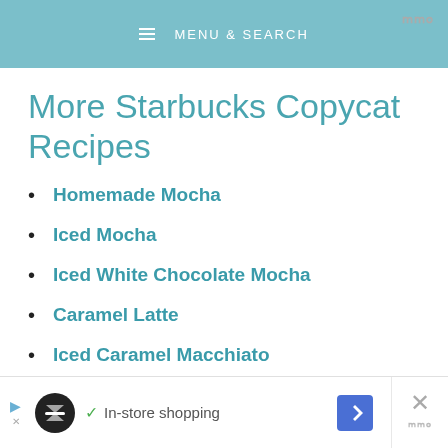MENU & SEARCH
More Starbucks Copycat Recipes
Homemade Mocha
Iced Mocha
Iced White Chocolate Mocha
Caramel Latte
Iced Caramel Macchiato
Chai Latte
In-store shopping